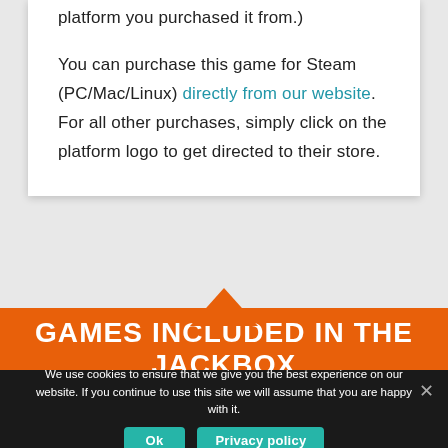platform you purchased it from.)
You can purchase this game for Steam (PC/Mac/Linux) directly from our website. For all other purchases, simply click on the platform logo to get directed to their store.
GAMES INCLUDED IN THE JACKBOX
We use cookies to ensure that we give you the best experience on our website. If you continue to use this site we will assume that you are happy with it.